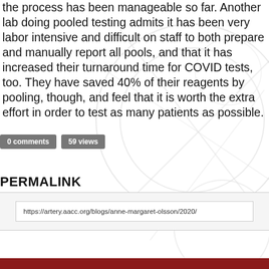the process has been manageable so far. Another lab doing pooled testing admits it has been very labor intensive and difficult on staff to both prepare and manually report all pools, and that it has increased their turnaround time for COVID tests, too. They have saved 40% of their reagents by pooling, though, and feel that it is worth the extra effort in order to test as many patients as possible.
0 comments   59 views
PERMALINK
https://artery.aacc.org/blogs/anne-margaret-olsson/2020/